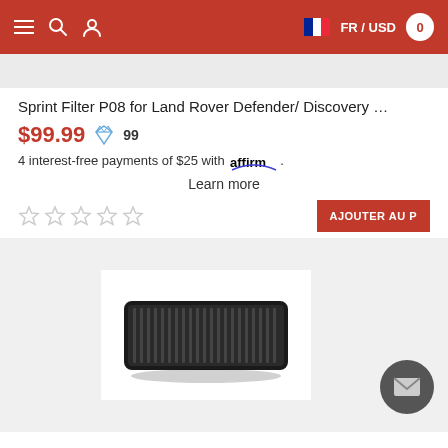≡ 🔍 👤  FR / USD  0
Sprint Filter P08 for Land Rover Defender/ Discovery …
$99.99  99
4 interest-free payments of $25 with affirm.
Learn more
[Figure (photo): Product image of Sprint Filter P08 air filter for Land Rover — black rectangular panel air filter on white background]
AJOUTER AU P